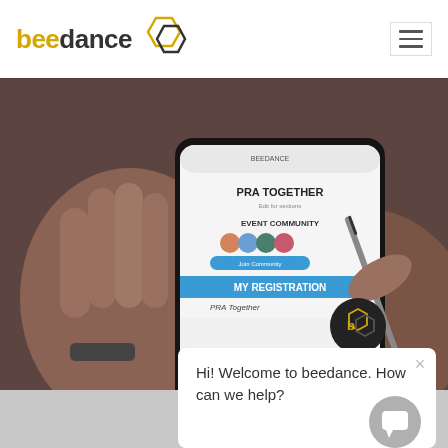beedance
[Figure (photo): Hands holding a smartphone displaying a mobile app interface with 'PRA TOGETHER' heading, event community section with profile photos, and 'MY REGISTRATION' section. A pen is visible in one hand.]
PRA: The Virtual
beedance /// June
Read More »
[Figure (other): Chat popup widget with bee logo icon, close button, and text 'Hi! Welcome to beedance. How can we help?' and a chat button in the bottom right corner.]
[Figure (photo): Partial bottom image showing a yellow and grey illustrated graphic, partially visible.]